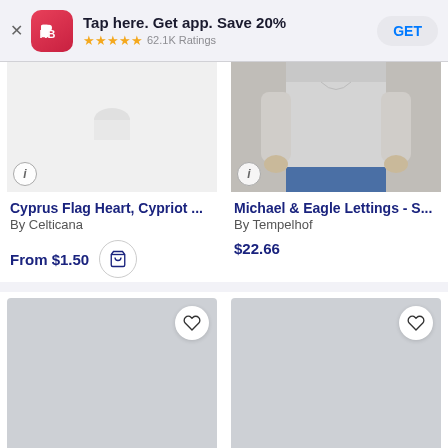[Figure (screenshot): Redbubble app install banner with logo, 'Tap here. Get app. Save 20%', 5-star rating, 62.1K Ratings, and GET button]
[Figure (photo): Product image placeholder for Cyprus Flag Heart, Cypriot ... item by Celticana]
Cyprus Flag Heart, Cypriot ...
By Celticana
From $1.50
[Figure (photo): Product image showing a person wearing a grey t-shirt for Michael & Eagle Lettings - S... by Tempelhof]
Michael & Eagle Lettings - S...
By Tempelhof
$22.66
[Figure (photo): Loading skeleton card placeholder, left product in second row]
[Figure (photo): Loading skeleton card placeholder, right product in second row]